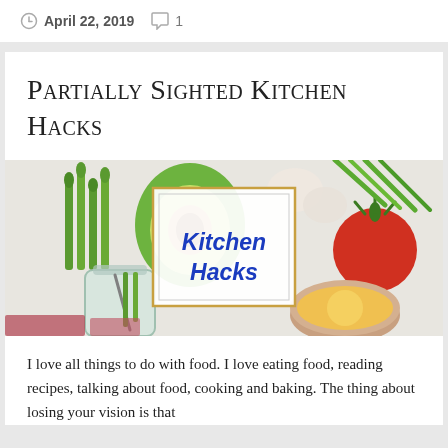April 22, 2019  1
Partially Sighted Kitchen Hacks
[Figure (photo): Overhead flat-lay photo of various vegetables and foods including asparagus, avocado, tomato, green onions, eggs, and a glass jar, with a white box overlaid in the center containing the text 'Kitchen Hacks' in bold blue italic font]
I love all things to do with food. I love eating food, reading recipes, talking about food, cooking and baking. The thing about losing your vision is that